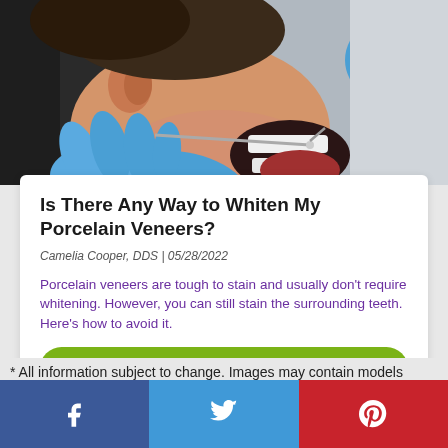[Figure (photo): Close-up of a dentist in blue latex gloves using a dental tool on a male patient with mouth open, clinical setting]
Is There Any Way to Whiten My Porcelain Veneers?
Camelia Cooper, DDS | 05/28/2022
Porcelain veneers are tough to stain and usually don't require whitening. However, you can still stain the surrounding teeth. Here's how to avoid it.
READ
* All information subject to change. Images may contain models
[Figure (other): Social share bar with Facebook (blue), Twitter (light blue), and Pinterest (red) buttons]